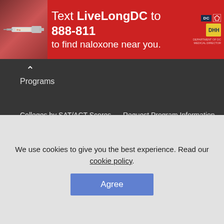[Figure (photo): Red advertisement banner: Text LiveLongDC to 888-811 to find naloxone near you. Shows syringe image on left, DC and DHH logos on right.]
Programs
Colleges by SAT/ACT Scores    Request Program Information
Data Sources
IPEDS
OPE Accreditation
OPE Security
OPE Athletics
Unsplash
We use cookies to give you the best experience. Read our cookie policy.